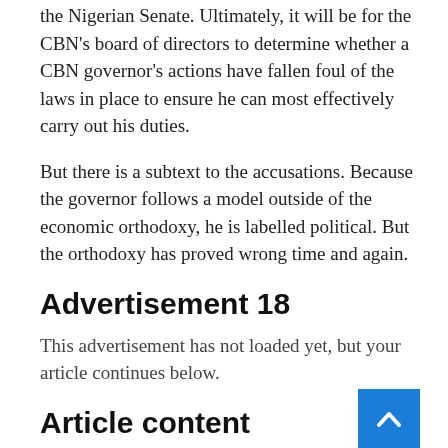the Nigerian Senate. Ultimately, it will be for the CBN's board of directors to determine whether a CBN governor's actions have fallen foul of the laws in place to ensure he can most effectively carry out his duties.
But there is a subtext to the accusations. Because the governor follows a model outside of the economic orthodoxy, he is labelled political. But the orthodoxy has proved wrong time and again.
Advertisement 18
This advertisement has not loaded yet, but your article continues below.
Article content
Instead, the governor is following an alternative